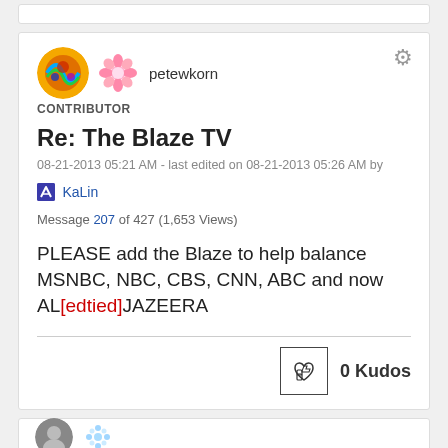petewkorn
CONTRIBUTOR
Re: The Blaze TV
08-21-2013 05:21 AM - last edited on 08-21-2013 05:26 AM by KaLin
Message 207 of 427 (1,653 Views)
PLEASE add the Blaze to help balance MSNBC, NBC, CBS, CNN, ABC and now AL[edtied]JAZEERA
0 Kudos